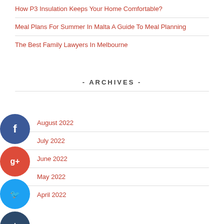How P3 Insulation Keeps Your Home Comfortable?
Meal Plans For Summer In Malta A Guide To Meal Planning
The Best Family Lawyers In Melbourne
- ARCHIVES -
August 2022
July 2022
June 2022
May 2022
April 2022